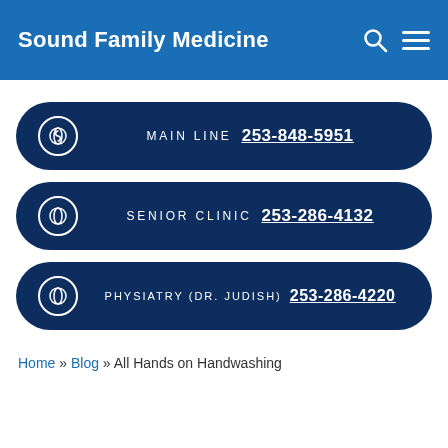Sound Family Medicine
MAIN LINE  253-848-5951
SENIOR CLINIC  253-286-4132
PHYSIATRY (DR. JUDISH)  253-286-4220
Home » Blog » All Hands on Handwashing